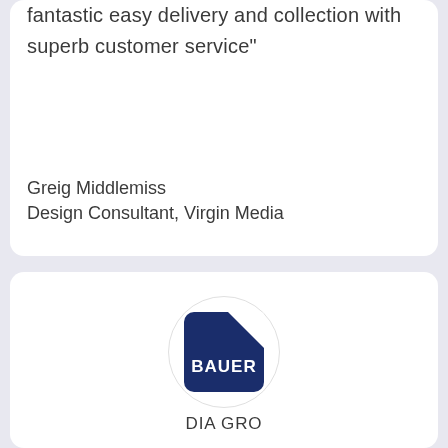fantastic easy delivery and collection with superb customer service"
Greig Middlemiss
Design Consultant, Virgin Media
[Figure (logo): Bauer Media Group logo - circular badge with dark blue square containing white folded corner and BAUER text in white, with 'DIA GRO' text visible below circle (partially cropped 'MEDIA GROUP')]